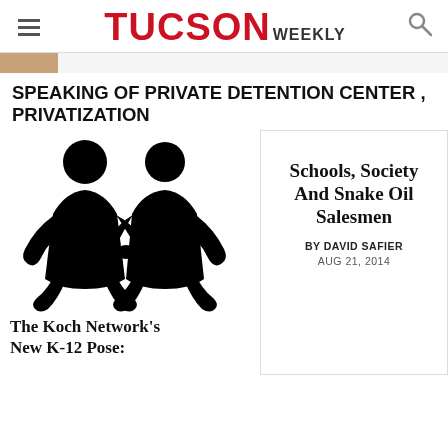TUCSON WEEKLY
[Figure (photo): Partial hero image strip showing a thumbnail on the left]
SPEAKING OF PRIVATE DETENTION CENTER , PRIVATIZATION
[Figure (illustration): Two black silhouette figures holding hands (paper doll style)]
The Koch Network's New K-12 Pose:
[Figure (other): Article card with title Schools, Society And Snake Oil Salesmen, by David Safier, Aug 21, 2014]
Schools, Society And Snake Oil Salesmen
BY DAVID SAFIER
AUG 21, 2014